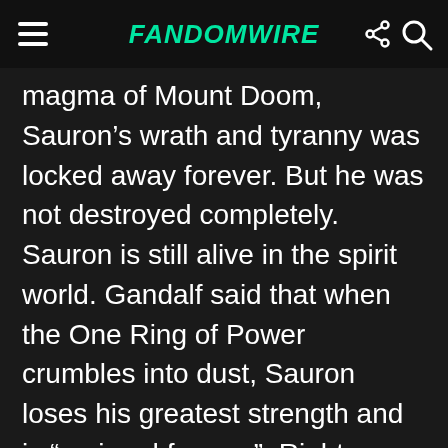FandomWire
magma of Mount Doom, Sauron’s wrath and tyranny was locked away forever. But he was not destroyed completely. Sauron is still alive in the spirit world. Gandalf said that when the One Ring of Power crumbles into dust, Sauron loses his greatest strength and is “maimed forever”. Right now, Sauron exist as a spirit of pure malice and chaos, forever cursed to roam the world as a demented wanderer. The Ring’s destruction destroyed almost the entire essence of Sauron since he had poured almost all his life force into the ring.